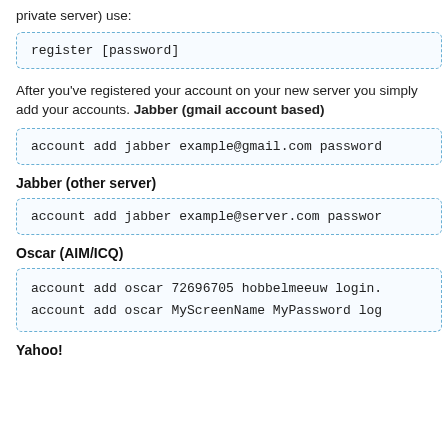private server) use:
register [password]
After you've registered your account on your new server you simply add your accounts. Jabber (gmail account based)
account add jabber example@gmail.com password
Jabber (other server)
account add jabber example@server.com password
Oscar (AIM/ICQ)
account add oscar 72696705 hobbelmeeuw login.
account add oscar MyScreenName MyPassword log
Yahoo!